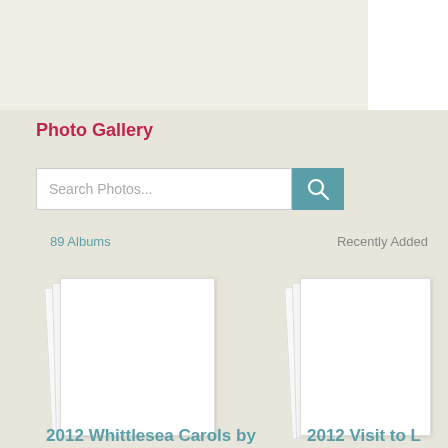Photo Gallery
Search Photos...
89 Albums
Recently Added
[Figure (photo): Left album card stack showing a white photo album thumbnail]
2012 Whittlesea Carols by
[Figure (photo): Right album card stack showing a white photo album thumbnail]
2012 Visit to L